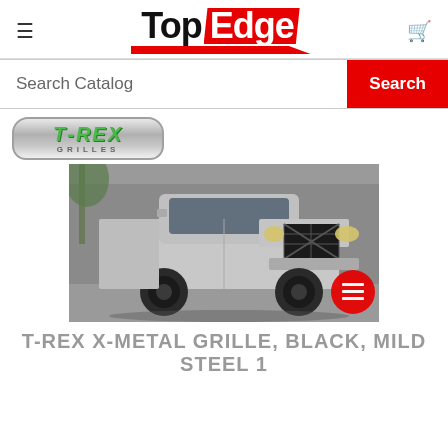[Figure (logo): Top Edge logo with black 'Top' text and red 'Edge' background, red slash underline]
Search Catalog
Search
[Figure (logo): T-Rex Grilles logo — chrome badge with green italic T-REX lettering and GRILLES below]
[Figure (photo): Silver Chevrolet Silverado pickup truck with T-Rex X-Metal black grille installed, photographed in parking lot]
T-REX X-METAL GRILLE, BLACK, MILD STEEL 1